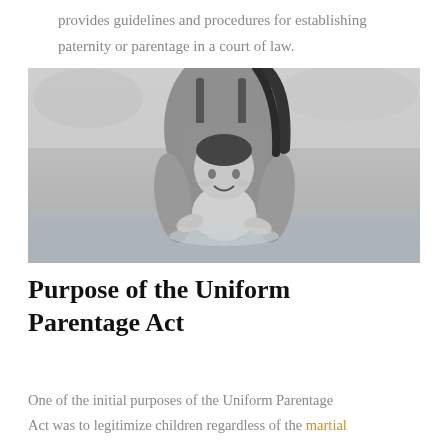provides guidelines and procedures for establishing paternity or parentage in a court of law.
[Figure (photo): Black and white photograph of a mother and baby at the water's edge; the baby is smiling and splashing in the water while the mother leans over from behind.]
Purpose of the Uniform Parentage Act
One of the initial purposes of the Uniform Parentage Act was to legitimize children regardless of the martial